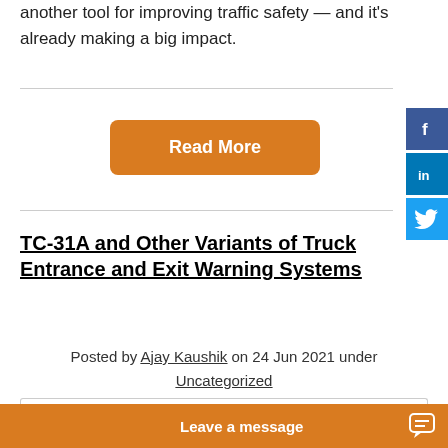another tool for improving traffic safety — and it's already making a big impact.
[Figure (other): Read More orange button]
[Figure (other): Social media icons: Facebook, LinkedIn, Twitter]
TC-31A and Other Variants of Truck Entrance and Exit Warning Systems
Posted by Ajay Kaushik on 24 Jun 2021 under Uncategorized
[Figure (other): Leave a message chat bar at bottom]